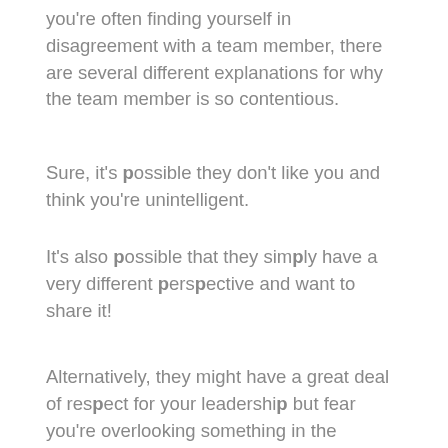you're often finding yourself in disagreement with a team member, there are several different explanations for why the team member is so contentious.
Sure, it's possible they don't like you and think you're unintelligent.
It's also possible that they simply have a very different perspective and want to share it!
Alternatively, they might have a great deal of respect for your leadership but fear you're overlooking something in the decision-making process.